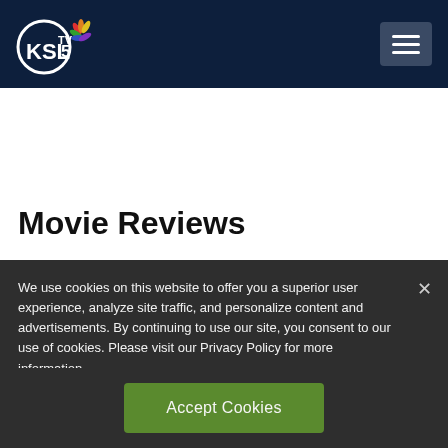KSL TV 5 — Navigation header with logo and hamburger menu
Movie Reviews
We use cookies on this website to offer you a superior user experience, analyze site traffic, and personalize content and advertisements. By continuing to use our site, you consent to our use of cookies. Please visit our Privacy Policy for more information.
Accept Cookies